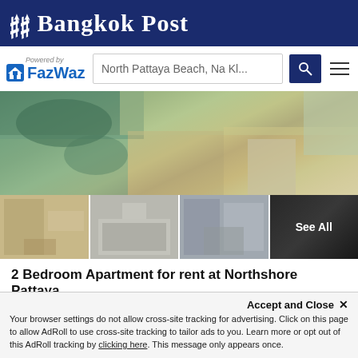Bangkok Post
[Figure (logo): FazWaz logo with search bar showing 'North Pattaya Beach, Na Kl...' and search icon and hamburger menu]
[Figure (photo): Aerial view of North Pattaya beach and surrounding buildings]
[Figure (photo): Four thumbnail photos of apartment interior rooms with 'See All' overlay on last thumbnail]
2 Bedroom Apartment for rent at Northshore Pattaya
Northshore Pattaya is a luxury condominium matching the lifestyles of the new generation. Its location is situated surrounded by shopping malls, entertainment venues, and popular tourist attractions....
2  2  117 SqM  Apartment
Year Built 2006  Mountain View  City View  Balcony
Accept and Close ✕
Your browser settings do not allow cross-site tracking for advertising. Click on this page to allow AdRoll to use cross-site tracking to tailor ads to you. Learn more or opt out of this AdRoll tracking by clicking here. This message only appears once.